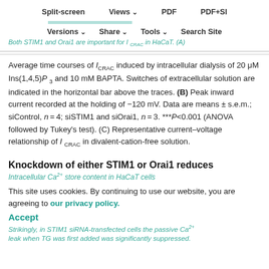Split-screen  Views  PDF  PDF+SI
Versions  Share  Tools  Search Site
Both STIM1 and Orai1 are important for I CRAC in HaCaT. (A)
Average time courses of I_CRAC induced by intracellular dialysis of 20 μM Ins(1,4,5)P 3 and 10 mM BAPTA. Switches of extracellular solution are indicated in the horizontal bar above the traces. (B) Peak inward current recorded at the holding of −120 mV. Data are means ± s.e.m.; siControl, n=4; siSTIM1 and siOrai1, n=3. ***P<0.001 (ANOVA followed by Tukey's test). (C) Representative current–voltage relationship of I_CRAC in divalent-cation-free solution.
Knockdown of either STIM1 or Orai1 reduces
Intracellular Ca2+ store content in HaCaT cells
This site uses cookies. By continuing to use our website, you are agreeing to our privacy policy.
Accept
Strikingly, in STIM1 siRNA-transfected cells the passive Ca2+ leak when TG was first added was significantly suppressed.